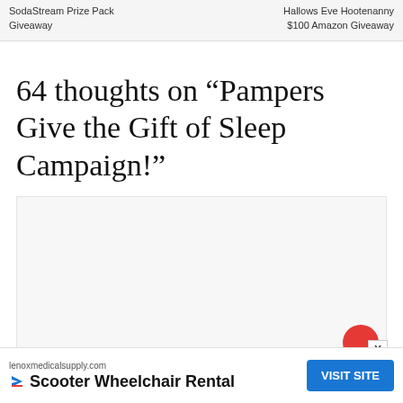SodaStream Prize Pack Giveaway | Hallows Eve Hootenanny $100 Amazon Giveaway
64 thoughts on “Pampers Give the Gift of Sleep Campaign!”
[Figure (other): Empty comment/form box area with a red circle button at lower right and an X close button]
lenoxmedicalsupply.com Scooter Wheelchair Rental VISIT SITE